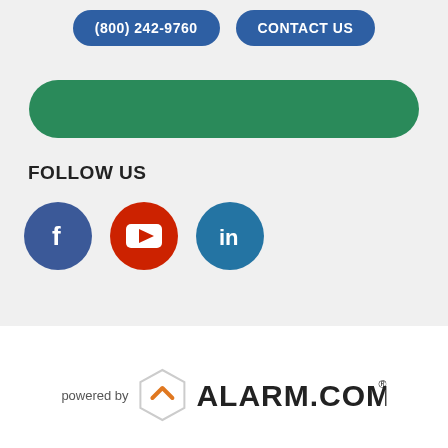[Figure (screenshot): Phone number button (800) 242-9760 in dark blue rounded rectangle]
[Figure (screenshot): Contact Us button in dark blue rounded rectangle]
[Figure (illustration): Green rounded bar/banner element]
FOLLOW US
[Figure (logo): Facebook logo icon - white F on dark blue circle]
[Figure (logo): YouTube logo icon - white play button on red circle]
[Figure (logo): LinkedIn logo icon - white 'in' on blue circle]
[Figure (logo): Powered by Alarm.com logo with hexagon icon and orange chevron]